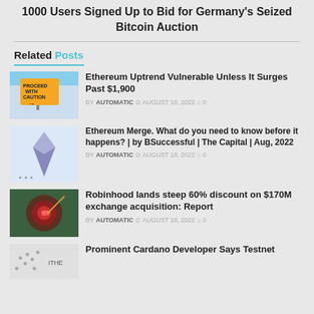1000 Users Signed Up to Bid for Germany's Seized Bitcoin Auction
Related Posts
Ethereum Uptrend Vulnerable Unless It Surges Past $1,900 | BY AUTOMATIC | AUGUST 18, 2022 | 0 comments
Ethereum Merge. What do you need to know before it happens? | by BSuccessful | The Capital | Aug, 2022 | BY AUTOMATIC | AUGUST 18, 2022 | 0 comments
Robinhood lands steep 60% discount on $170M exchange acquisition: Report | BY AUTOMATIC | AUGUST 18, 2022 | 0 comments
Prominent Cardano Developer Says Testnet…